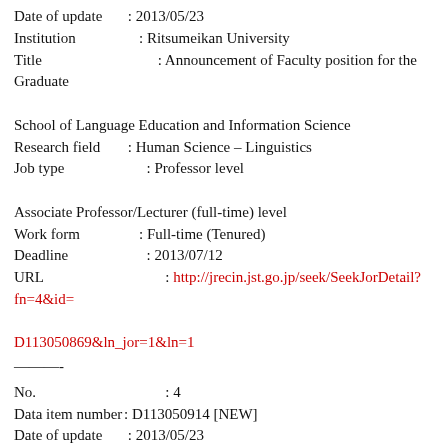Date of update : 2013/05/23
Institution : Ritsumeikan University
Title : Announcement of Faculty position for the Graduate School of Language Education and Information Science
Research field : Human Science – Linguistics
Job type : Professor level
Associate Professor/Lecturer (full-time) level
Work form : Full-time (Tenured)
Deadline : 2013/07/12
URL : http://jrecin.jst.go.jp/seek/SeekJorDetail?fn=4&id=D113050869&ln_jor=1&ln=1
———-
No. : 4
Data item number : D113050914 [NEW]
Date of update : 2013/05/23
Institution : Japan International Cooperation Agency
Title : Research Assistant in Evidence-based Analysis for Post-2015 Development Strategies (Quantitative Analysis)
Research field : Social Science – Economics